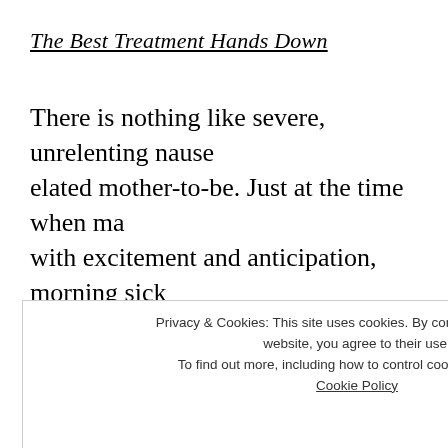The Best Treatment Hands Down
There is nothing like severe, unrelenting nausea to dampen the spirits of an elated mother-to-be. Just at the time when many women are buzzing with excitement and anticipation, morning sickness strikes. While hoping for the misery to pass quickly, she is likely to find that it may well persist throughout the first trimester.
Privacy & Cookies: This site uses cookies. By continuing to use this website, you agree to their use. To find out more, including how to control cookies, see here: Cookie Policy
malnutrition and failure of the mother to gain